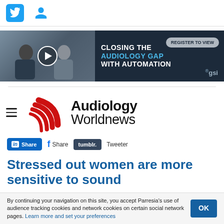Twitter icon, User/profile icon
[Figure (screenshot): Ad banner for 'Closing the Audiology Gap with Automation' by GSI, with video thumbnail of two people talking on left, dark navy background on right with text and Register to View button]
[Figure (logo): Audiology Worldnews logo with red swoosh/signal wave icon and bold black text 'Audiology Worldnews']
Share  Share  tumblr.  Tweeter
Stressed out women are more sensitive to sound
By continuing your navigation on this site, you accept Parresia's use of audience tracking cookies and network cookies on certain social network pages. Learn more and set your preferences